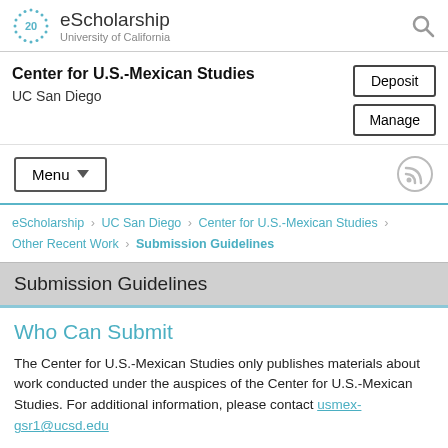eScholarship — University of California
Center for U.S.-Mexican Studies
UC San Diego
Deposit | Manage
Menu
eScholarship > UC San Diego > Center for U.S.-Mexican Studies > Other Recent Work > Submission Guidelines
Submission Guidelines
Who Can Submit
The Center for U.S.-Mexican Studies only publishes materials about work conducted under the auspices of the Center for U.S.-Mexican Studies. For additional information, please contact usmex-gsr1@ucsd.edu